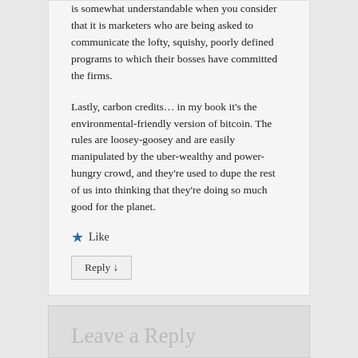is somewhat understandable when you consider that it is marketers who are being asked to communicate the lofty, squishy, poorly defined programs to which their bosses have committed the firms.
Lastly, carbon credits… in my book it's the environmental-friendly version of bitcoin. The rules are loosey-goosey and are easily manipulated by the uber-wealthy and power-hungry crowd, and they're used to dupe the rest of us into thinking that they're doing so much good for the planet.
★ Like
Reply ↓
Leave a Reply